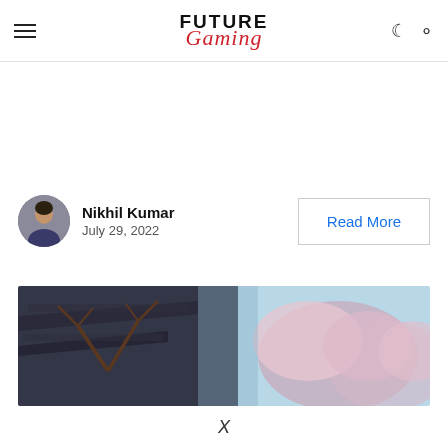FUTURE Gaming
Nikhil Kumar
July 29, 2022
Read More
[Figure (photo): A blurred video game scene showing Japanese-style rooftops on the left and mountainous terrain with pink cherry blossom trees in the background on the right, with a light blue sky.]
X